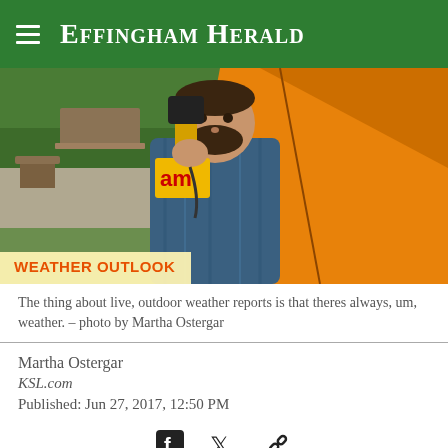Effingham Herald
[Figure (photo): A bearded man in a plaid shirt holds a microphone with a yellow flag in front of a large orange tent or umbrella outdoors. A lower-third graphic reads 'WEATHER OUTLOOK' in orange bold text on a cream background.]
The thing about live, outdoor weather reports is that theres always, um, weather. – photo by Martha Ostergar
Martha Ostergar
KSL.com
Published: Jun 27, 2017, 12:50 PM
[Figure (other): Social media sharing icons: Facebook, Twitter, and link/chain icon]
DUBLIN As a person who has worked behind the scenes